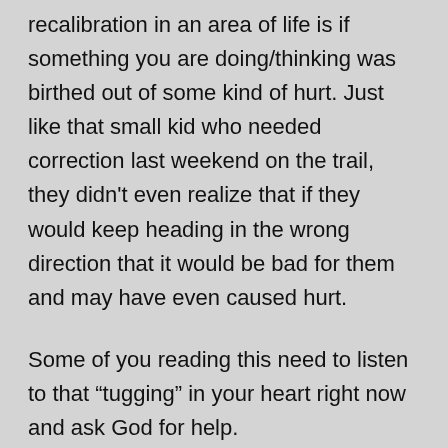recalibration in an area of life is if something you are doing/thinking was birthed out of some kind of hurt. Just like that small kid who needed correction last weekend on the trail, they didn't even realize that if they would keep heading in the wrong direction that it would be bad for them and may have even caused hurt.
Some of you reading this need to listen to that “tugging” in your heart right now and ask God for help.
If you need some to pray with then please click